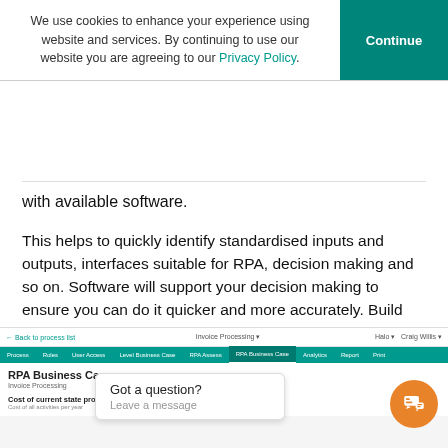We use cookies to enhance your experience using website and services. By continuing to use our website you are agreeing to our Privacy Policy.
with available software.
This helps to quickly identify standardised inputs and outputs, interfaces suitable for RPA, decision making and so on. Software will support your decision making to ensure you can do it quicker and more accurately. Build your business case by determining how much a process costs, how many full time equivalent roles are required, who will be impacted and the potential savings.
[Figure (screenshot): Screenshot of an RPA Business Case tool showing Invoice Processing page with navigation tabs (Process, Roles, User Access, Level Business Case, RPA Assess, RPA Business Case, Analytics, Report, Print) and a chat popup saying 'Got a question? Leave a message' with an orange chat icon.]